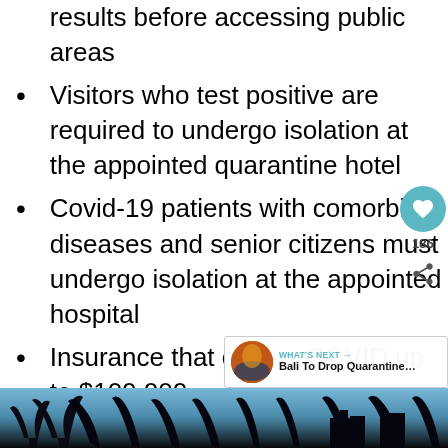results before accessing public areas
Visitors who test positive are required to undergo isolation at the appointed quarantine hotel
Covid-19 patients with comorbid diseases and senior citizens must undergo isolation at the appointed hospital
Insurance that covers COVID up to $100,000
Travelers are required to conduct another PCR test on the third day before gaining access into the provinces outside of Bali
[Figure (photo): Palm trees silhouette against sky at dusk/night, photo partially visible at bottom of page]